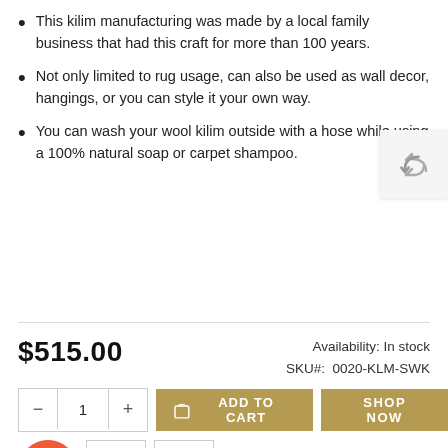This kilim manufacturing was made by a local family business that had this craft for more than 100 years.
Not only limited to rug usage, can also be used as wall decor, hangings, or you can style it your own way.
You can wash your wool kilim outside with a hose while using a 100% natural soap or carpet shampoo.
$515.00
Availability: In stock
SKU#:  0020-KLM-SWK